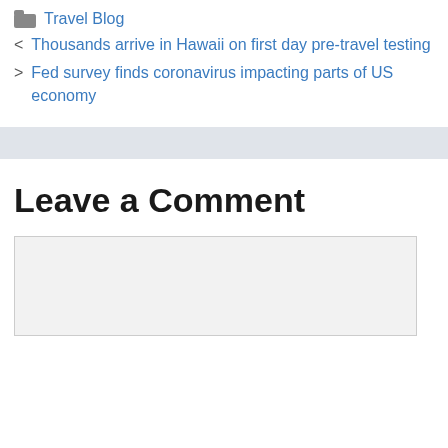Travel Blog
Thousands arrive in Hawaii on first day pre-travel testing
Fed survey finds coronavirus impacting parts of US economy
Leave a Comment